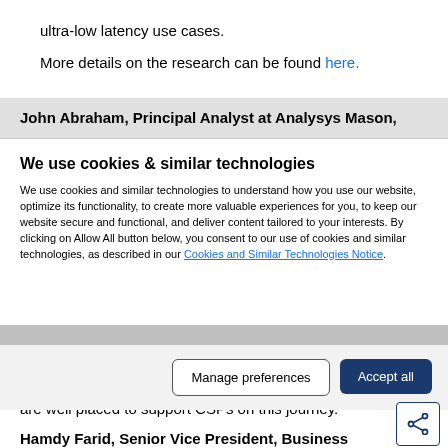ultra-low latency use cases.
More details on the research can be found here.
John Abraham, Principal Analyst at Analysys Mason,
We use cookies & similar technologies
We use cookies and similar technologies to understand how you use our website, optimize its functionality, to create more valuable experiences for you, to keep our website secure and functional, and deliver content tailored to your interests. By clicking on Allow All button below, you consent to our use of cookies and similar technologies, as described in our Cookies and Similar Technologies Notice.
Manage preferences
Accept all
are well placed to support CSPs on this journey.”
Hamdy Farid, Senior Vice President, Business Applications at Nokia, said: “To unlock 5G revenues a